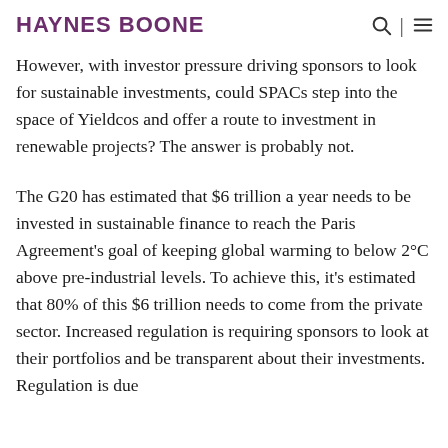HAYNES BOONE
However, with investor pressure driving sponsors to look for sustainable investments, could SPACs step into the space of Yieldcos and offer a route to investment in renewable projects? The answer is probably not.
The G20 has estimated that $6 trillion a year needs to be invested in sustainable finance to reach the Paris Agreement’s goal of keeping global warming to below 2°C above pre-industrial levels. To achieve this, it’s estimated that 80% of this $6 trillion needs to come from the private sector. Increased regulation is requiring sponsors to look at their portfolios and be transparent about their investments. Regulation is due...